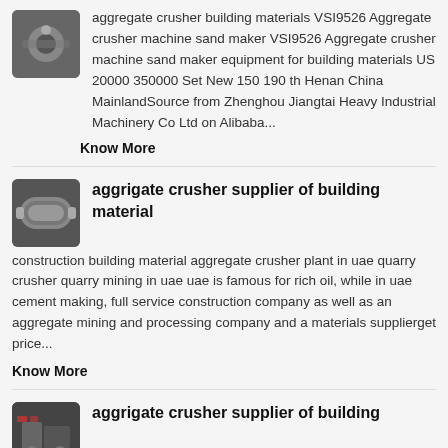[Figure (photo): Small thumbnail image of aggregate crusher machinery, dark grey tones]
aggregate crusher building materials VSI9526 Aggregate crusher machine sand maker VSI9526 Aggregate crusher machine sand maker equipment for building materials US 20000 350000 Set New 150 190 th Henan China MainlandSource from Zhenghou Jiangtai Heavy Industrial Machinery Co Ltd on Alibaba...
Know More
[Figure (photo): Small thumbnail image of industrial aggregate crusher cylinder/drum, grey tones]
aggrigate crusher supplier of building material
construction building material aggregate crusher plant in uae quarry crusher quarry mining in uae uae is famous for rich oil, while in uae cement making, full service construction company as well as an aggregate mining and processing company and a materials supplierget price...
Know More
[Figure (photo): Small thumbnail image of aggregate crusher supplier of building material, red and dark tones]
aggrigate crusher supplier of building